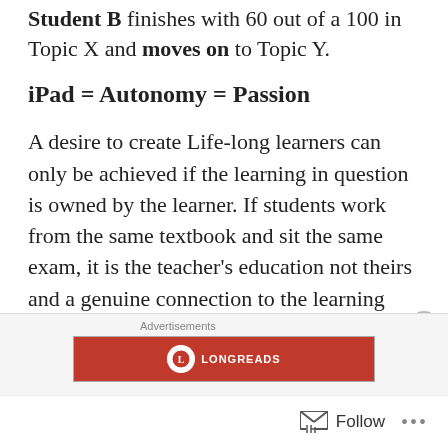Student B finishes with 60 out of a 100 in Topic X and moves on to Topic Y.
iPad = Autonomy = Passion
A desire to create Life-long learners can only be achieved if the learning in question is owned by the learner. If students work from the same textbook and sit the same exam, it is the teacher's education not theirs and a genuine connection to the learning process is never formed. Introduction of iPads in
Advertisements  LONGREADS
Follow ...